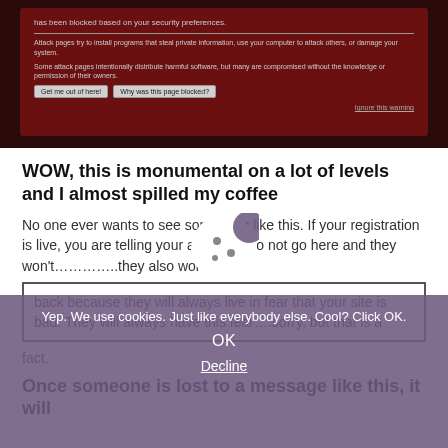[Figure (screenshot): Browser security warning screenshot showing a dark red page with 'has been blocked based on your security preferences.' text, attack page warning text, 'Get me out of here!' and 'Why was this page blocked?' buttons, and 'Ignore this warning' link.]
WOW, this is monumental on a lot of levels and I almost spilled my coffee
No one ever wants to see something like this. If your registration is live, you are telling your attendees to not go here and they won't…………..they also won't come back because they will always live in fear that your site is bad. They will always have this fear….sorry, but that is a fact.
Once someone is lost to a message like this, it will
[Figure (screenshot): Cookie consent overlay with cookie icon, text 'Yep. We use cookies. Just like everybody else. Cool? Click OK.' with OK and Decline buttons, overlaid on the page content with purple/mauve semi-transparent background.]